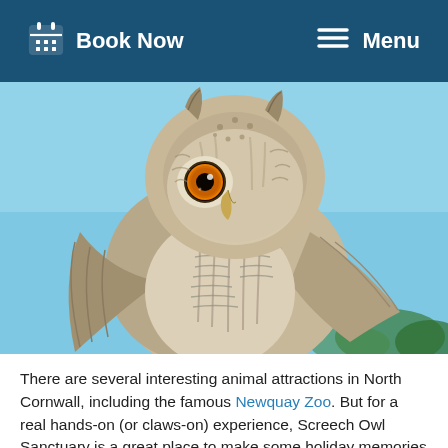Book Now   Menu
[Figure (photo): Close-up photograph of a large eagle owl with striking orange eyes, brown and white streaked feathers, against a blue sky background.]
There are several interesting animal attractions in North Cornwall, including the famous Newquay Zoo. But for a real hands-on (or claws-on) experience, Screech Owl Sanctuary is a great place to make some holiday memories just a few miles away. There are a large range of